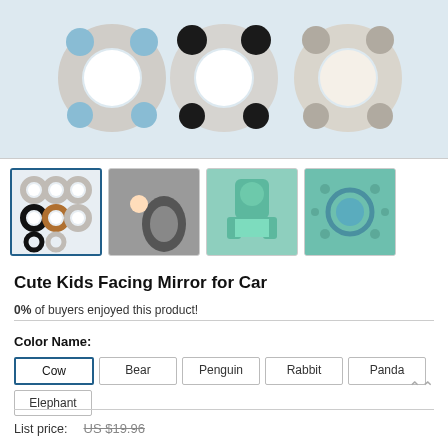[Figure (photo): Main product image showing three baby car mirror toys with animal ears (blue/cow, black-white/panda, gray/elephant) with circular mirror rings on white background]
[Figure (photo): Thumbnail row showing four product images: group of animal mirrors, baby in car seat mirror, teal frog plush, and teal fabric close-up]
Cute Kids Facing Mirror for Car
0% of buyers enjoyed this product!
Color Name: Cow | Bear | Penguin | Rabbit | Panda | Elephant
List price: US $19.96